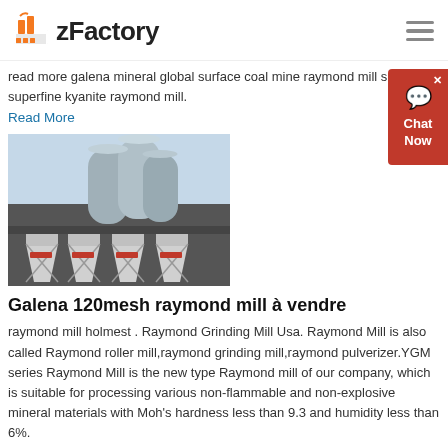zFactory
read more galena mineral global surface coal mine raymond mill s . high superfine kyanite raymond mill.
Read More
[Figure (photo): Industrial building with large cylindrical silos and hopper/cone-shaped equipment units in front of a dark grey building exterior]
Galena 120mesh raymond mill à vendre
raymond mill holmest . Raymond Grinding Mill Usa. Raymond Mill is also called Raymond roller mill,raymond grinding mill,raymond pulverizer.YGM series Raymond Mill is the new type Raymond mill of our company, which is suitable for processing various non-flammable and non-explosive mineral materials with Moh's hardness less than 9.3 and humidity less than 6%.
Read More